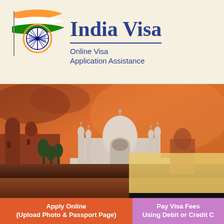[Figure (logo): India flag logo with ashoka chakra and tricolor wavy banner]
India Visa
Online Visa Application Assistance
[Figure (photo): Taj Mahal at sunset with orange sky, red sandstone mosque on left, gold box overlay on right]
Apply Online (Upload Photo & Passport Page)
Pay Visa Fees Using Debit or Credit C